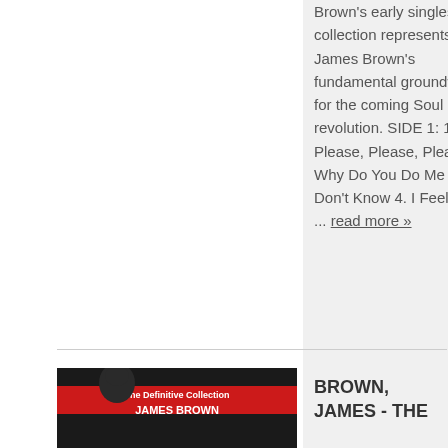Brown's early singles. This collection represents James Brown's fundamental groundwork for the coming Soul Music revolution. SIDE 1: 1. Please, Please, Please 2. Why Do You Do Me 3. I Don't Know 4. I Feel That ... read more »
[Figure (photo): Black and white photo of James Brown with red band text 'JAMES BROWN']
BROWN, JAMES - THE